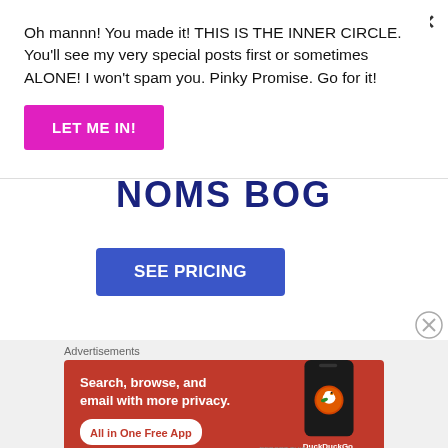Oh mannn! You made it! THIS IS THE INNER CIRCLE. You'll see my very special posts first or sometimes ALONE! I won't spam you. Pinky Promise. Go for it!
LET ME IN!
SEE PRICING
Advertisements
[Figure (screenshot): DuckDuckGo advertisement banner with orange background showing phone mockup and text: Search, browse, and email with more privacy. All in One Free App. DuckDuckGo logo.]